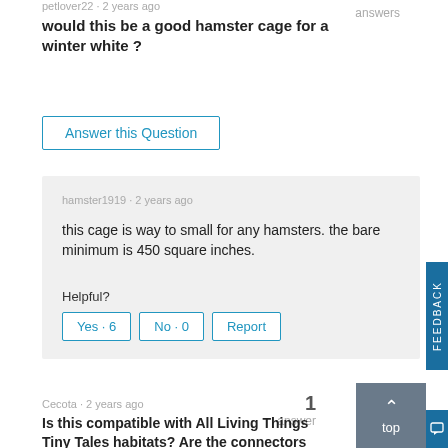petlover22 · 2 years ago
answers
would this be a good hamster cage for a winter white ?
Answer this Question
hamster1919 · 2 years ago
this cage is way to small for any hamsters. the bare minimum is 450 square inches.
Helpful?
Yes · 6
No · 0
Report
Cecota · 2 years ago
1
answer
Is this compatible with All Living Things Tiny Tales habitats? Are the connectors